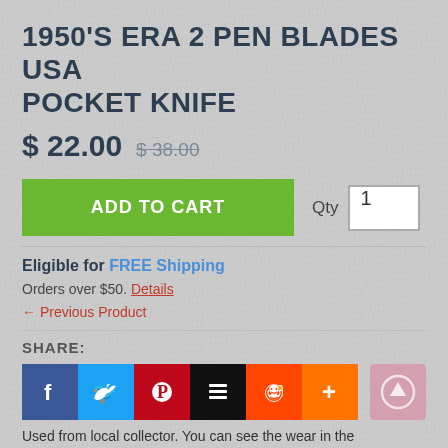1950'S ERA 2 PEN BLADES USA POCKET KNIFE
$ 22.00  $ 38.00
ADD TO CART  Qty 1
Eligible for FREE Shipping
Orders over $50. Details
← Previous Product
SHARE:
[Figure (infographic): Social share buttons: Facebook, Twitter, Pinterest, Buffer/Stack, Reddit, Plus]
Used from local collector.  You can see the wear in the